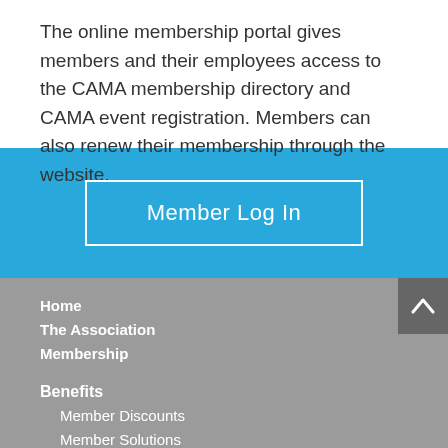The online membership portal gives members and their employees access to the CAMA membership directory and CAMA event registration. Members can also renew their membership through the website.
[Figure (screenshot): Blue call-to-action section with a white-bordered 'Member Log In' button centered on a light blue background.]
Home
The Association
Membership
Benefits
Member Discounts
Member Solutions